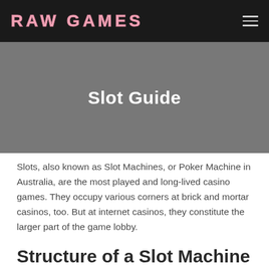RAW GAMES
Slot Guide
Slots, also known as Slot Machines, or Poker Machine in Australia, are the most played and long-lived casino games. They occupy various corners at brick and mortar casinos, too. But at internet casinos, they constitute the larger part of the game lobby.
Structure of a Slot Machine